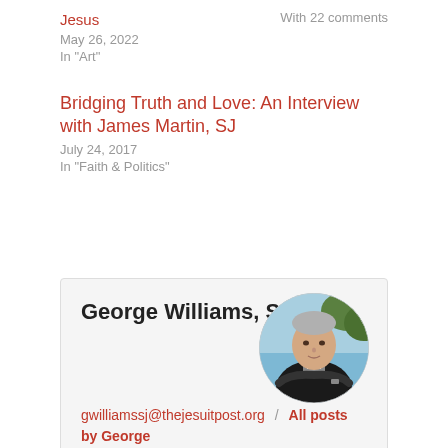Jesus
With 22 comments
May 26, 2022
In "Art"
Bridging Truth and Love: An Interview with James Martin, SJ
July 24, 2017
In "Faith & Politics"
George Williams, SJ
[Figure (photo): Circular profile photo of George Williams, SJ, a man in black clerical clothing with arms crossed, outdoors with blue sky and foliage background]
gwilliamssj@thejesuitpost.org  /  All posts by George